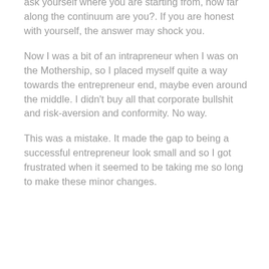ask yourself where you are starting from, how far along the continuum are you?. If you are honest with yourself, the answer may shock you.
Now I was a bit of an intrapreneur when I was on the Mothership, so I placed myself quite a way towards the entrepreneur end, maybe even around the middle. I didn't buy all that corporate bullshit and risk-aversion and conformity. No way.
This was a mistake. It made the gap to being a successful entrepreneur look small and so I got frustrated when it seemed to be taking me so long to make these minor changes.